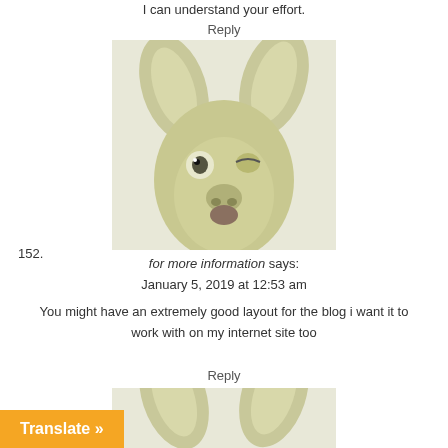I can understand your effort.
Reply
[Figure (photo): Blurry photo of a stuffed animal or toy resembling a deer or rabbit head with large ears]
152.
for more information says:
January 5, 2019 at 12:53 am
You might have an extremely good layout for the blog i want it to work with on my internet site too
Reply
[Figure (photo): Partial blurry photo of the same stuffed animal toy, cropped at bottom]
Translate »